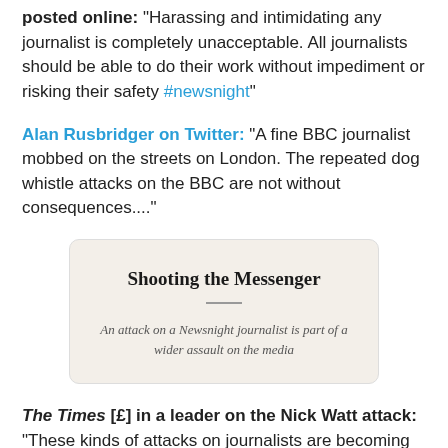posted online: "Harassing and intimidating any journalist is completely unacceptable. All journalists should be able to do their work without impediment or risking their safety #newsnight"
Alan Rusbridger on Twitter: "A fine BBC journalist mobbed on the streets on London. The repeated dog whistle attacks on the BBC are not without consequences...."
[Figure (other): Card/embed image with title 'Shooting the Messenger' and subtitle 'An attack on a Newsnight journalist is part of a wider assault on the media']
The Times [£] in a leader on the Nick Watt attack: "These kinds of attacks on journalists are becoming more frequent and are the product of a political climate increasingly hostile towards the media. Though not exclusively, attacks on journalists in the West have largely been at the hands of a reinvigorated far right...While it may be extremists who are